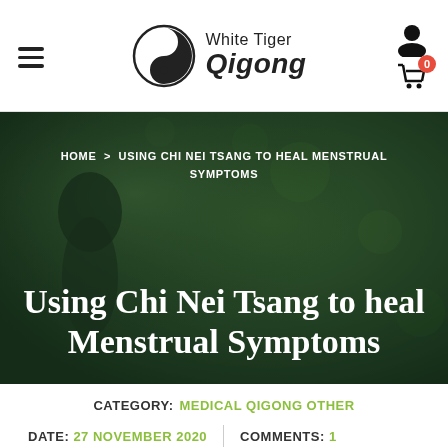White Tiger Qigong
[Figure (screenshot): Hero image of a person in white martial arts clothing holding a pose against a dark green bokeh background. Overlaid with breadcrumb navigation and article title.]
HOME > USING CHI NEI TSANG TO HEAL MENSTRUAL SYMPTOMS
Using Chi Nei Tsang to heal Menstrual Symptoms
CATEGORY: MEDICAL QIGONG OTHER
DATE: 27 NOVEMBER 2020   COMMENTS: 1